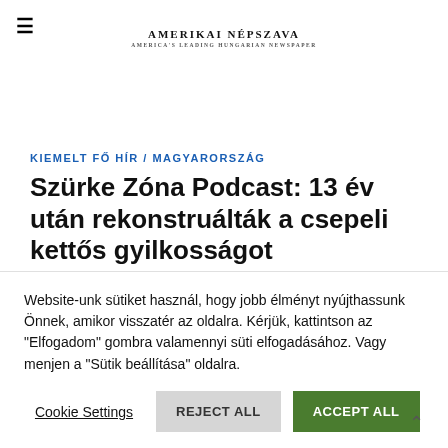≡  AMERIKAI NÉPSZAVA
KIEMELT FŐ HÍR / MAGYARORSZÁG
Szürke Zóna Podcast: 13 év után rekonstruálták a csepeli kettős gyilkosságot
Website-unk sütiket használ, hogy jobb élményt nyújthassunk Önnek, amikor visszatér az oldalra. Kérjük, kattintson az "Elfogadom" gombra valamennyi süti elfogadásához. Vagy menjen a "Sütik beállítása" oldalra.
Cookie Settings | REJECT ALL | ACCEPT ALL